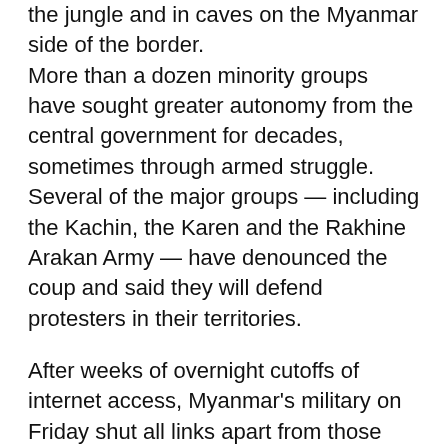the jungle and in caves on the Myanmar side of the border.
More than a dozen minority groups have sought greater autonomy from the central government for decades, sometimes through armed struggle. Several of the major groups — including the Kachin, the Karen and the Rakhine Arakan Army — have denounced the coup and said they will defend protesters in their territories.
After weeks of overnight cutoffs of internet access, Myanmar's military on Friday shut all links apart from those using fiberoptic cable, which was working at drastically reduced speeds. Access to mobile networks and all wireless — the less costly options used by most people in the developing country — remained blocked on Saturday.
The coup reversed years of slow progress toward democracy in Myanmar, which for five decades...